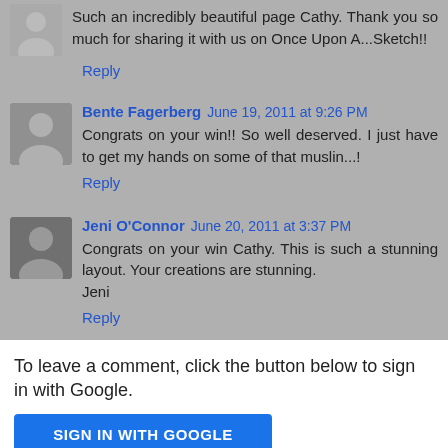Such an incredibly beautiful page Cathy. Thank you so much for sharing it with us on Once Upon A...Sketch!!
Reply
Bente Fagerberg June 19, 2011 at 9:26 PM
Congrats on your win!! So well deserved. I just have to get my hands on some of that muslin...!
Reply
Jeni O'Connor June 20, 2011 at 3:37 PM
Congrats on your win Cathy. This is such a stunning layout. Your creations are stunning. Jeni
Reply
To leave a comment, click the button below to sign in with Google.
SIGN IN WITH GOOGLE